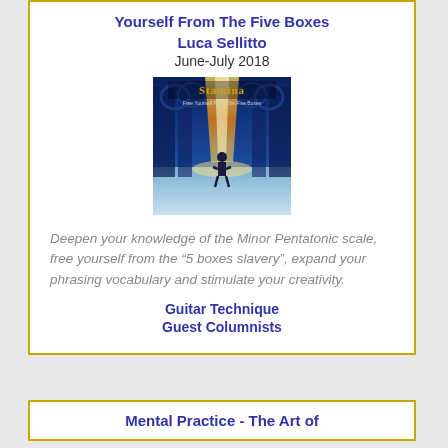Yourself From The Five Boxes
Luca Sellitto
June-July 2018
[Figure (illustration): Album cover for 'Stamina' showing a figure standing in a cathedral-like space with a beam of light]
Deepen your knowledge of the Minor Pentatonic scale, free yourself from the “5 boxes slavery”, expand your phrasing vocabulary and stimulate your creativity.
Guitar Technique
Guest Columnists
Mental Practice - The Art of